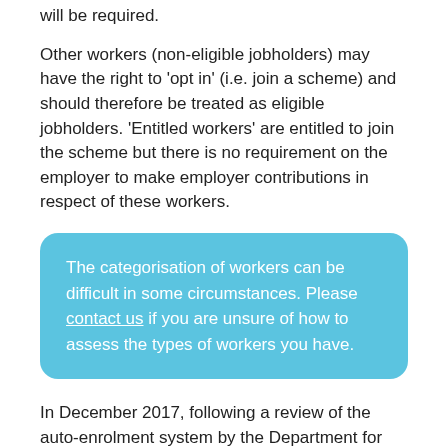will be required.
Other workers (non-eligible jobholders) may have the right to 'opt in' (i.e. join a scheme) and should therefore be treated as eligible jobholders. 'Entitled workers' are entitled to join the scheme but there is no requirement on the employer to make employer contributions in respect of these workers.
The categorisation of workers can be difficult in some circumstances. Please contact us if you are unsure of how to assess the types of workers you have.
In December 2017, following a review of the auto-enrolment system by the Department for Work and Pensions, the government proposed to change the lower age limit from 22 to 18 (while maintaining the upper age limit at the SPA). Under the proposals, those aged between 18 and the SPA would be